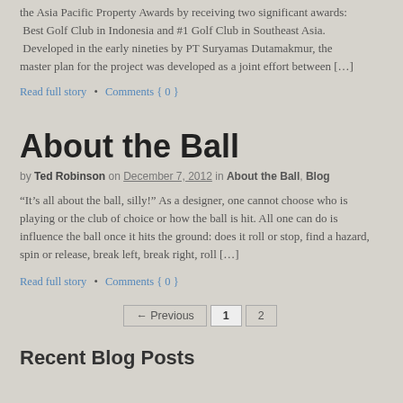the Asia Pacific Property Awards by receiving two significant awards: Best Golf Club in Indonesia and #1 Golf Club in Southeast Asia. Developed in the early nineties by PT Suryamas Dutamakmur, the master plan for the project was developed as a joint effort between […]
Read full story • Comments { 0 }
About the Ball
by Ted Robinson on December 7, 2012 in About the Ball, Blog
“It’s all about the ball, silly!” As a designer, one cannot choose who is playing or the club of choice or how the ball is hit. All one can do is influence the ball once it hits the ground: does it roll or stop, find a hazard, spin or release, break left, break right, roll […]
Read full story • Comments { 0 }
← Previous  1  2
Recent Blog Posts